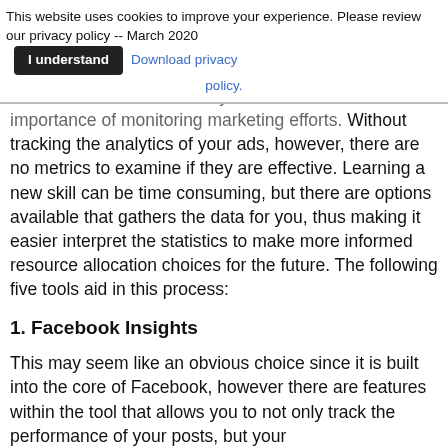This website uses cookies to improve your experience. Please review our privacy policy -- March 2020  [I understand]  Download privacy policy.
business demands that they've failed to realize the importance of monitoring marketing efforts. Without tracking the analytics of your ads, however, there are no metrics to examine if they are effective. Learning a new skill can be time consuming, but there are options available that gathers the data for you, thus making it easier interpret the statistics to make more informed resource allocation choices for the future. The following five tools aid in this process:
1. Facebook Insights
This may seem like an obvious choice since it is built into the core of Facebook, however there are features within the tool that allows you to not only track the performance of your posts, but your